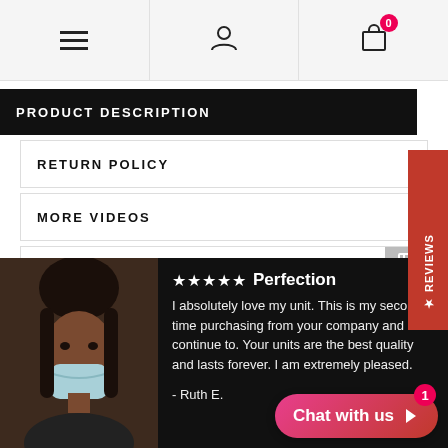Navigation bar with menu, user, and cart icons
PRODUCT DESCRIPTION
RETURN POLICY
MORE VIDEOS
★★★★★ Perfection
I absolutely love my unit. This is my second time purchasing from your company and I will continue to. Your units are the best quality and lasts forever. I am extremely pleased.
- Ruth E.